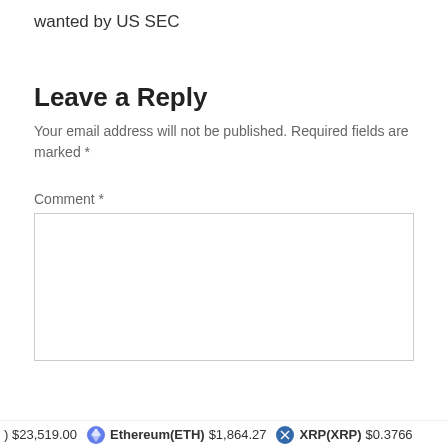wanted by US SEC
Leave a Reply
Your email address will not be published. Required fields are marked *
Comment *
) $23,519.00  Ethereum(ETH) $1,864.27  XRP(XRP) $0.3766